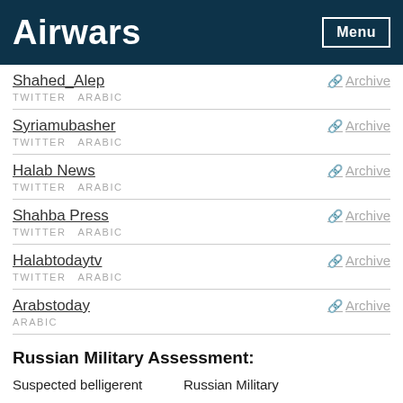Airwars   Menu
Shahed_Alep
TWITTER ARABIC
Archive
Syriamubasher
TWITTER ARABIC
Archive
Halab News
TWITTER ARABIC
Archive
Shahba Press
TWITTER ARABIC
Archive
Halabtodaytv
TWITTER ARABIC
Archive
Arabstoday
ARABIC
Archive
Russian Military Assessment:
Suspected belligerent   Russian Military